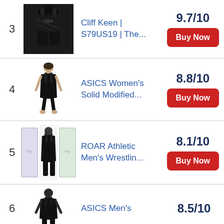3 | Cliff Keen | S79US19 | The... | 9.7/10 | Buy Now
4 | ASICS Women's Solid Modified... | 8.8/10 | Buy Now
5 | ROAR Athletic Men's Wrestlin... | 8.1/10 | Buy Now
6 | ASICS Men's | 8.5/10